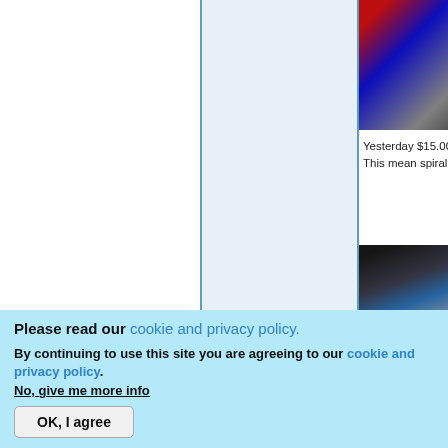[Figure (photo): Photo of tools/batteries on store shelves, partially visible in top-right column]
Yesterday $15.00. To was $20, n This mean spiral.
[Figure (photo): Second photo of tools/batteries on store shelves, bottom of right column]
Please read our cookie and privacy policy.
By continuing to use this site you are agreeing to our cookie and privacy policy. No, give me more info
OK, I agree